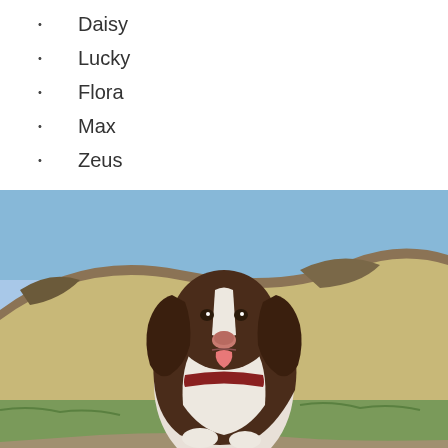Daisy
Lucky
Flora
Max
Zeus
[Figure (photo): A brown and white Springer Spaniel dog sitting outdoors on a dirt path, looking at the camera with its mouth open and tongue out. The dog is wearing a dark red collar. The background shows a grassy hillside under a blue sky.]